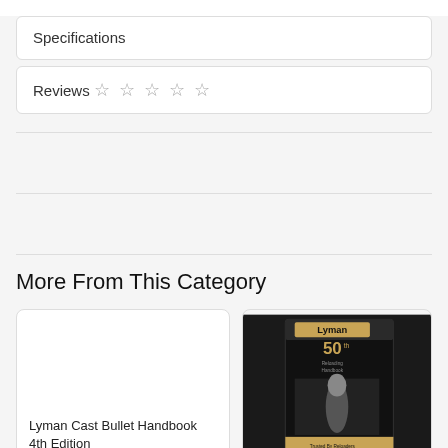Specifications
Reviews ☆ ☆ ☆ ☆ ☆
More From This Category
Lyman Cast Bullet Handbook 4th Edition
[Figure (photo): Lyman 50th edition reloading handbook book cover on dark background with a bullet image]